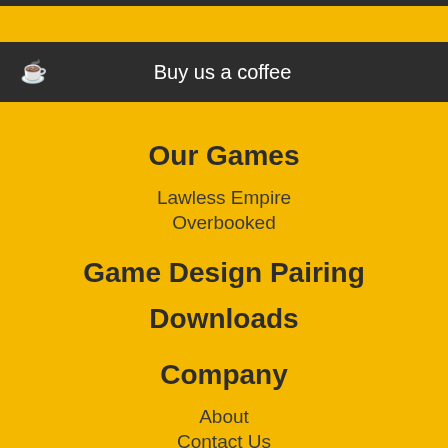Buy us a coffee
Our Games
Lawless Empire
Overbooked
Game Design Pairing
Downloads
Company
About
Contact Us
Privacy Policy